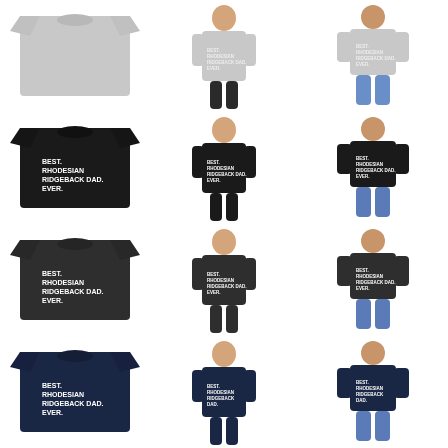[Figure (photo): Light gray t-shirt flat lay, no text visible]
[Figure (photo): Female model wearing light gray t-shirt with BEST. RHODESIAN RIDGEBACK DAD. EVER. text]
[Figure (photo): Male model wearing light gray t-shirt with BEST. RHODESIAN RIDGEBACK DAD. EVER. text]
[Figure (photo): Black t-shirt flat lay with BEST. RHODESIAN RIDGEBACK DAD. EVER. text in white]
[Figure (photo): Female model wearing black t-shirt with BEST. RHODESIAN RIDGEBACK DAD. EVER. text]
[Figure (photo): Male model wearing black t-shirt with BEST. RHODESIAN RIDGEBACK DAD. EVER. text]
[Figure (photo): Dark charcoal t-shirt flat lay with BEST. RHODESIAN RIDGEBACK DAD. EVER. text in white]
[Figure (photo): Female model wearing dark charcoal t-shirt with BEST. RHODESIAN RIDGEBACK DAD. EVER. text]
[Figure (photo): Male model wearing dark charcoal t-shirt with BEST. RHODESIAN RIDGEBACK DAD. EVER. text]
[Figure (photo): Navy t-shirt flat lay with BEST. RHODESIAN RIDGEBACK DAD. EVER. text in white]
[Figure (photo): Female model wearing navy t-shirt with BEST. RHODESIAN RIDGEBACK DAD. EVER. text]
[Figure (photo): Male model wearing navy t-shirt with BEST. RHODESIAN RIDGEBACK DAD. EVER. text]